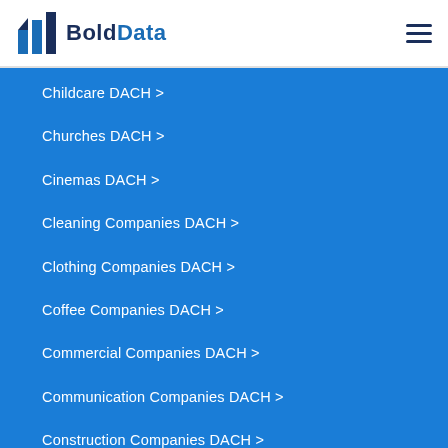BoldData
Childcare DACH >
Churches DACH >
Cinemas DACH >
Cleaning Companies DACH >
Clothing Companies DACH >
Coffee Companies DACH >
Commercial Companies DACH >
Communication Companies DACH >
Construction Companies DACH >
Construction Companies DACH >
Consulting Companies DACH >
Consumer Goods Companies DACH >
Contact Lenses Companies DACH >